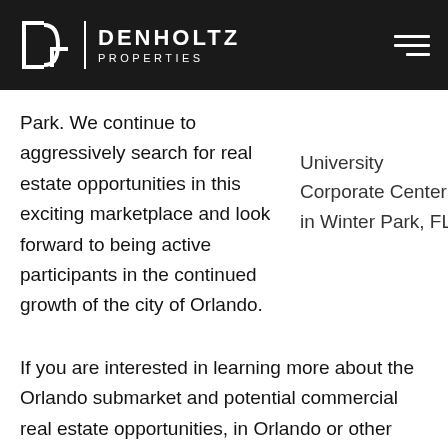DENHOLTZ PROPERTIES
Park. We continue to aggressively search for real estate opportunities in this exciting marketplace and look forward to being active participants in the continued growth of the city of Orlando.
University Corporate Center in Winter Park, FL
If you are interested in learning more about the Orlando submarket and potential commercial real estate opportunities, in Orlando or other submarkets in Florida, please feel free to reach out to our team.